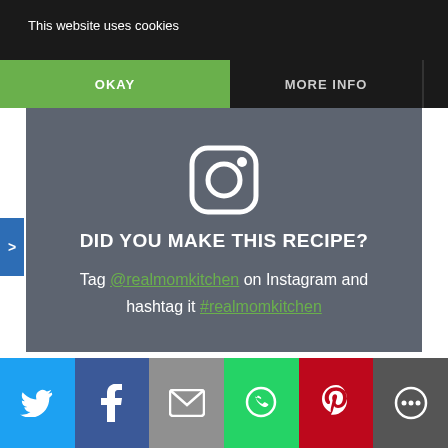This website uses cookies
OKAY
MORE INFO
[Figure (infographic): Instagram promotional box with Instagram icon and text: DID YOU MAKE THIS RECIPE? Tag @realmomkitchen on Instagram and hashtag it #realmomkitchen]
Recipe Card powered by tasty RECIPES
[Figure (infographic): Social share bar with Twitter, Facebook, Email, WhatsApp, Pinterest, and More buttons]